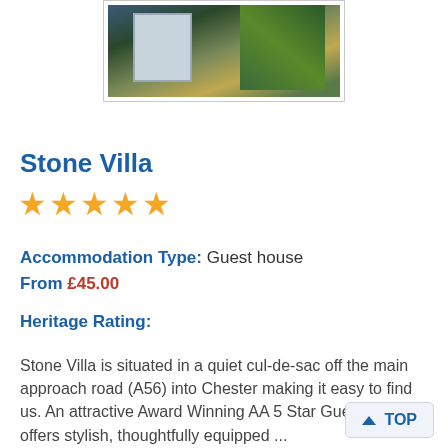[Figure (photo): Exterior photo of Stone Villa guest house, showing building facade with greenery]
Stone Villa
[Figure (other): 5 gold star rating icons]
Accommodation Type: Guest house
From £45.00
Heritage Rating:
Stone Villa is situated in a quiet cul-de-sac off the main approach road (A56) into Chester making it easy to find us. An attractive Award Winning AA 5 Star Guest House offers stylish, thoughtfully equipped ...